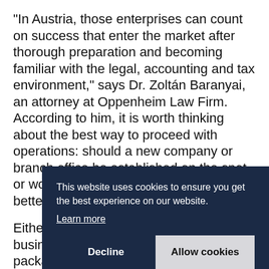“In Austria, those enterprises can count on success that enter the market after thorough preparation and becoming familiar with the legal, accounting and tax environment,” says Dr. Zoltán Baranyai, an attorney at Oppenheim Law Firm. According to him, it is worth thinking about the best way to proceed with operations: should a new company or branch office be established on the spot, or would cross-border services offer a better solution?
Either way, Austria welcomes ambitious businesses with attractive incentive packages. Startups pay re... a... p... re... a... a... administrative errors, and they also can get feedback
This website uses cookies to ensure you get the best experience on our website. Learn more